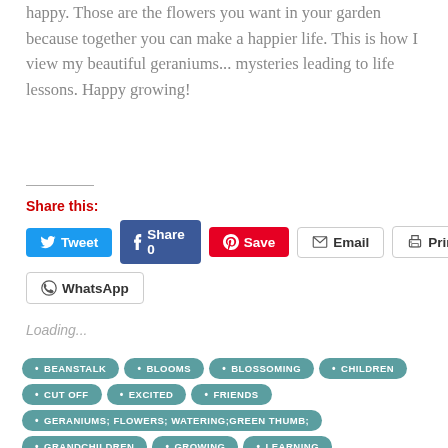happy. Those are the flowers you want in your garden because together you can make a happier life. This is how I view my beautiful geraniums... mysteries leading to life lessons. Happy growing!
Share this:
Tweet | Share 0 | Save | Email | Print | WhatsApp
Loading...
BEANSTALK
BLOOMS
BLOSSOMING
CHILDREN
CUT OFF
EXCITED
FRIENDS
GERANIUMS; FLOWERS; WATERING;GREEN THUMB;
GRANDCHILDREN
GROWING
LEARNING